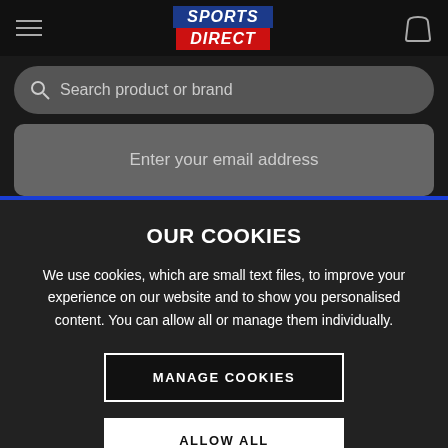[Figure (logo): Sports Direct logo with SPORTS in blue background and DIRECT in red background, both in white bold italic text]
Search product or brand
Enter your email address
OUR COOKIES
We use cookies, which are small text files, to improve your experience on our website and to show you personalised content. You can allow all or manage them individually.
MANAGE COOKIES
ALLOW ALL